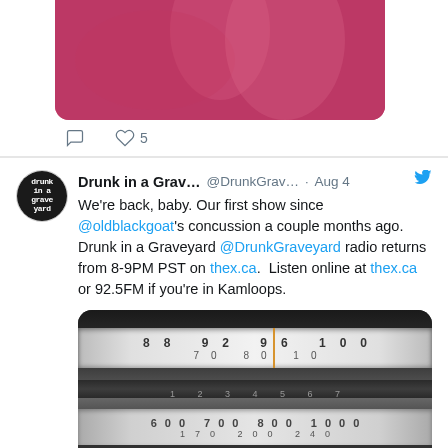[Figure (photo): Partial photo of a pink/red performance or stage scene, cropped at bottom of frame]
♡ 5
Drunk in a Grav... @DrunkGrav... · Aug 4
We're back, baby. Our first show since @oldblackgoat's concussion a couple months ago. Drunk in a Graveyard @DrunkGraveyard radio returns from 8-9PM PST on thex.ca. Listen online at thex.ca or 92.5FM if you're in Kamloops.
[Figure (photo): Close-up photo of a vintage radio tuning dial showing FM and AM frequency bands]